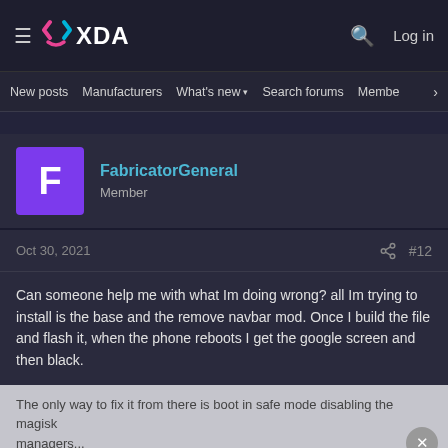XDA Forums — hamburger menu, XDA logo, search icon, Log in
New posts    Manufacturers    What's new ▾    Search forums    Membe    >
FabricatorGeneral
Member
Oct 30, 2021    share    #12
Can someone help me with what Im doing wrong? all Im trying to install is the base and the remove navbar mod. Once I build the file and flash it, when the phone reboots I get the google screen and then black.
The only way to fix it from there is boot in safe mode disabling the magisk managers...
[Figure (screenshot): Hulu, Disney+, ESPN+ advertisement banner: GET THE DISNEY BUNDLE. Incl. Hulu (ad-supported) or Hulu (No Ads). Access content from each service separately. ©2021 Disney and its related entities]
If I can just get a zip that removes the navbar, that would also be cool